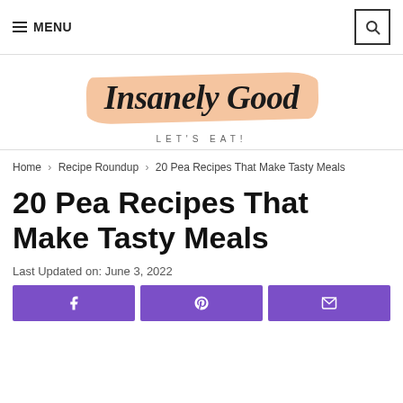≡ MENU  [search icon]
[Figure (logo): Insanely Good logo with peach brush stroke background and tagline LET'S EAT!]
Home › Recipe Roundup › 20 Pea Recipes That Make Tasty Meals
20 Pea Recipes That Make Tasty Meals
Last Updated on: June 3, 2022
[Figure (infographic): Three purple social share buttons: Facebook, Pinterest, and email/envelope]